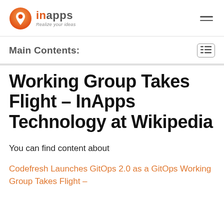inapps Realize your ideas
Main Contents:
Working Group Takes Flight – InApps Technology at Wikipedia
You can find content about
Codefresh Launches GitOps 2.0 as a GitOps Working Group Takes Flight –